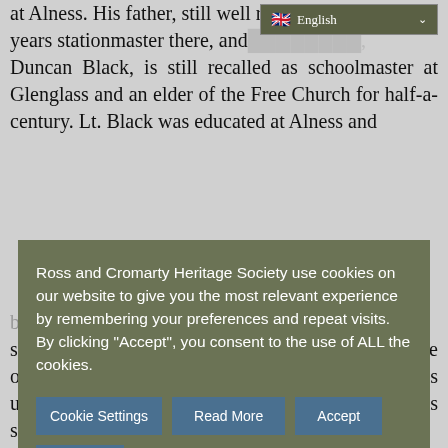at Alness. His father, still well remembered years stationmaster there, and ... Duncan Black, is still recalled as schoolmaster at Glenglass and an elder of the Free Church for half-a-century. Lt. Black was educated at Alness and
[Figure (screenshot): Language selector dropdown showing UK flag and 'English' with a down arrow, styled with olive/dark green background]
Ross and Cromarty Heritage Society use cookies on our website to give you the most relevant experience by remembering your preferences and repeat visits. By clicking "Accept", you consent to the use of ALL the cookies.
Cookie Settings | Read More | Accept | Reject (cookie consent buttons)
become very popular and where his work was singularly effective. He joined up soon after the outbreak of war, selecting the 5th Seaforths for his unit, in which he reached commissioned rank. He has seen much service on the Western Front.